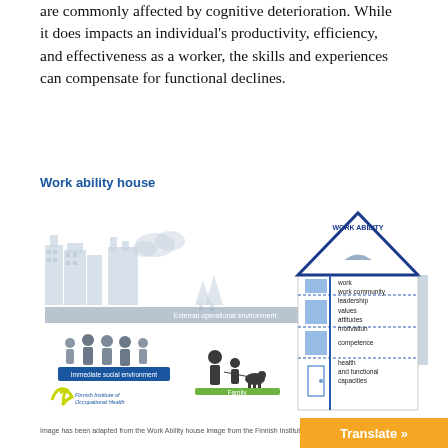are commonly affected by cognitive deterioration. While it does impacts an individual's productivity, efficiency, and effectiveness as a worker, the skills and experiences can compensate for functional declines.
Work ability house
[Figure (infographic): Work ability house diagram showing a house structure with floors labeled: health and functional capacities, competence, values attitudes motivation, work/work community/leadership. Outside the house shows External operational environment, Immediate social environment (people icons), Family (adult with child and dog icons), Finnish Institute of Occupational Health logo, and city/building silhouette background.]
Image has been adapted from the Work Ability house image from the Finnish Institute of Occupational Health.